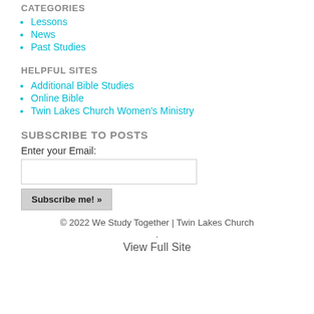CATEGORIES
Lessons
News
Past Studies
HELPFUL SITES
Additional Bible Studies
Online Bible
Twin Lakes Church Women's Ministry
SUBSCRIBE TO POSTS
Enter your Email:
Subscribe me! »
© 2022 We Study Together | Twin Lakes Church
.
View Full Site